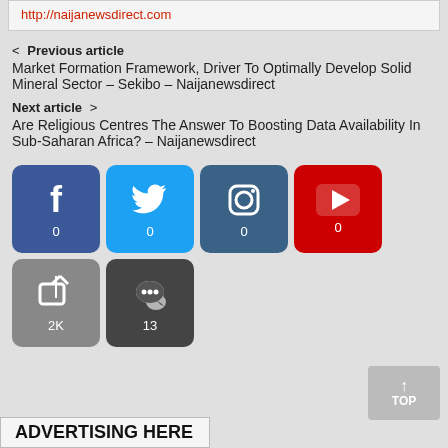http://naijanewsdirect.com
< Previous article
Market Formation Framework, Driver To Optimally Develop Solid Mineral Sector – Sekibo – Naijanewsdirect
Next article >
Are Religious Centres The Answer To Boosting Data Availability In Sub-Saharan Africa? – Naijanewsdirect
[Figure (infographic): Social media share buttons: Facebook (0), Twitter (0), Instagram (0), YouTube (0), Share (2K), Comments (13)]
ADVERTISING HERE
↑ TOP